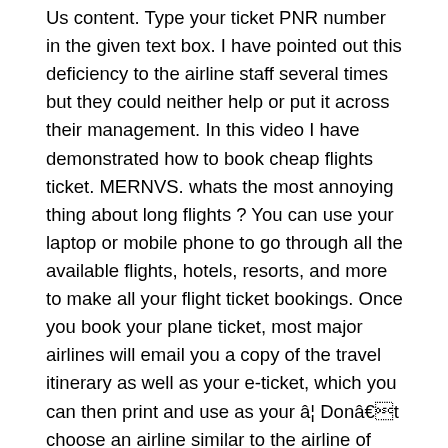Us content. Type your ticket PNR number in the given text box. I have pointed out this deficiency to the airline staff several times but they could neither help or put it across their management. In this video I have demonstrated how to book cheap flights ticket. MERNVS. whats the most annoying thing about long flights ? You can use your laptop or mobile phone to go through all the available flights, hotels, resorts, and more to make all your flight ticket bookings. Once you book your plane ticket, most major airlines will email you a copy of the travel itinerary as well as your e-ticket, which you can then print and use as your â¦ Donât choose an airline similar to the airline of arrival in the country. Enter your Trip ID and the last name of any one of the passengers. Refunds through this feature will be processed only for tickets booked on the IndiGo website. Enter the correct ticket number or bus booking ID and